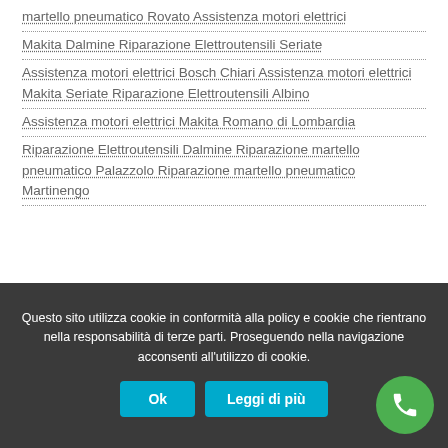martello pneumatico Rovato Assistenza motori elettrici
Makita Dalmine Riparazione Elettroutensili Seriate
Assistenza motori elettrici Bosch Chiari Assistenza motori elettrici Makita Seriate Riparazione Elettroutensili Albino
Assistenza motori elettrici Makita Romano di Lombardia
Riparazione Elettroutensili Dalmine Riparazione martello pneumatico Palazzolo Riparazione martello pneumatico Martinengo
Questo sito utilizza cookie in conformità alla policy e cookie che rientrano nella responsabilità di terze parti. Proseguendo nella navigazione acconsenti all'utilizzo di cookie.